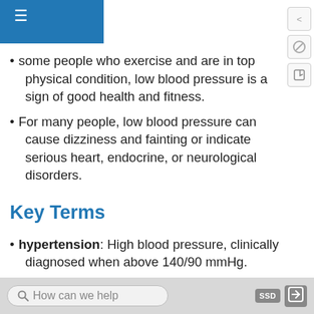some people who exercise and are in top physical condition, low blood pressure is a sign of good health and fitness.
For many people, low blood pressure can cause dizziness and fainting or indicate serious heart, endocrine, or neurological disorders.
Key Terms
hypertension: High blood pressure, clinically diagnosed when above 140/90 mmHg.
hypotension: Low blood pressure, clinically diagnosed when below 100/60 mmHg.
In healthy adults, physiological blood pressure should fall between the range of 100-140 mmHg systolic and
How can we help